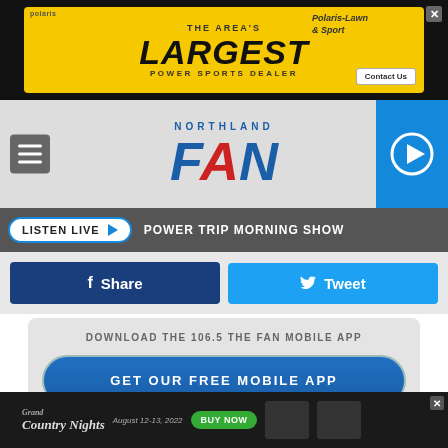[Figure (screenshot): Top advertisement banner for 'The Area's Largest Power Sports Dealer' in yellow with snowmobile image and Polaris-Lawn & Sport logo]
[Figure (logo): Northland FAN radio station logo with hamburger menu and play button]
LISTEN LIVE ▶  POWER TRIP MORNING SHOW
[Figure (screenshot): Facebook Share button (dark blue) and Twitter Tweet button (light blue)]
DOWNLOAD THE 106.5 THE FAN MOBILE APP
GET OUR FREE MOBILE APP
Also listen on:  amazon alexa
[Figure (screenshot): Bottom advertisement for Grand Country Nights, August 12-13 2022, BUY NOW button, featuring Big & Rich and Brothers Osborne]